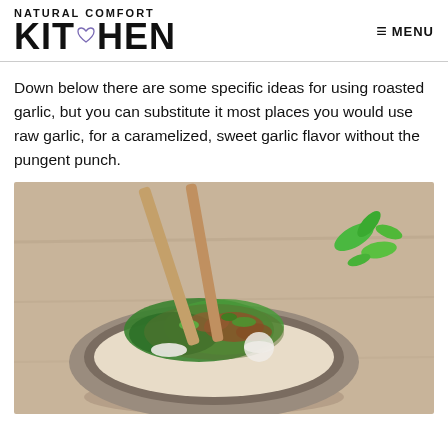NATURAL COMFORT KITCHEN | MENU
Down below there are some specific ideas for using roasted garlic, but you can substitute it most places you would use raw garlic, for a caramelized, sweet garlic flavor without the pungent punch.
[Figure (photo): A bowl of food with chopped greens, tomatoes, and other toppings, with wooden chopsticks, on a wooden surface with fresh basil leaves nearby.]